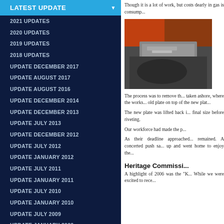LATEST UPDATE
2021 UPDATES
2020 UPDATES
2019 UPDATES
2018 UPDATES
UPDATE DECEMBER 2017
UPDATE AUGUST 2017
UPDATE AUGUST 2016
UPDATE DECEMBER 2014
UPDATE DECEMBER 2013
UPDATE JULY 2013
UPDATE DECEMBER 2012
UPDATE JULY 2012
UPDATE JANUARY 2012
UPDATE JULY 2011
UPDATE JANUARY 2011
UPDATE JULY 2010
UPDATE JANUARY 2010
UPDATE JULY 2009
UPDATE JANUARY 2009
UPDATE JULY 2008
UPDATE JANUARY 2008
UPDATE AUGUST 2007
UPDATE DECEMBER 2006
Though it is a lot of work, but costs dearly in gas is consump...
[Figure (photo): Photograph showing old metal plates and riveting work area on a vessel]
The process was to remove th... taken ashore, where the works... old plate on top of the new plat...
The new plate was lifted back i... final size before riveting.
Our workforce had made the p...
As their deadline approached... remained. A concerted push sa... up and went home to enjoy the...
Heritage Commissi...
A highlight of 2006 was the "K... While we were excited to rece...